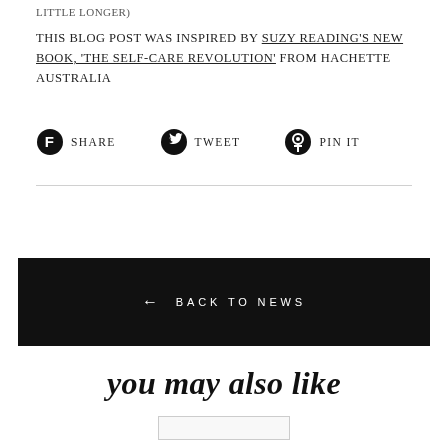LITTLE LONGER)
This blog post was inspired by Suzy Reading's new book, 'The Self-Care Revolution' from Hachette Australia
Share  Tweet  Pin it
← BACK TO NEWS
you may also like